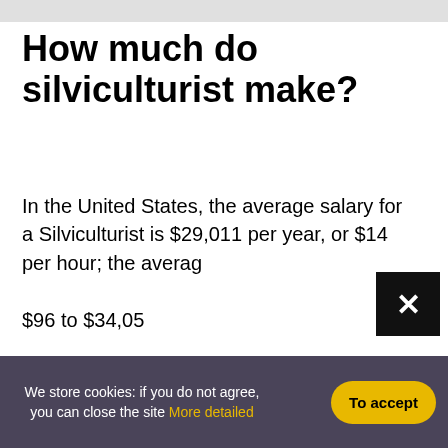How much do silviculturist make?
In the United States, the average salary for a Silviculturist is $29,011 per year, or $14 per hour; the average range $96 to $34,05
How t rang
Althou
We store cookies: if you do not agree, you can close the site More detailed